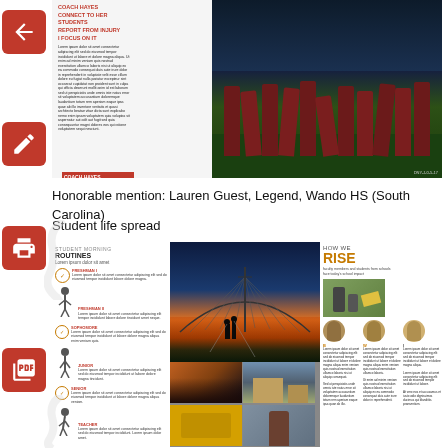[Figure (photo): Magazine spread thumbnail showing text columns on the left and a photo of cheerleaders performing on a football field on the right]
Honorable mention: Lauren Guest, Legend, Wando HS (South Carolina)
Student life spread
[Figure (photo): Student life magazine spread with 'Student Morning Routines' infographic on left, sunset bridge photograph in center, and 'How We Rise' article with faculty and student quotes on right side, plus bottom photo grid]